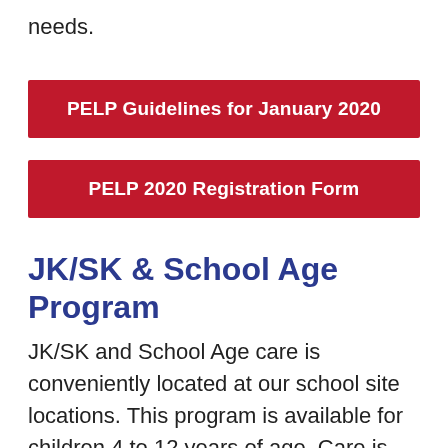needs.
PELP Guidelines for January 2020
PELP 2020 Registration Form
JK/SK & School Age Program
JK/SK and School Age care is conveniently located at our school site locations. This program is available for children 4 to 12 years of age. Care is available before and after school hours, on PA days, during March Break and through the summer. Children are provided with a safe learning